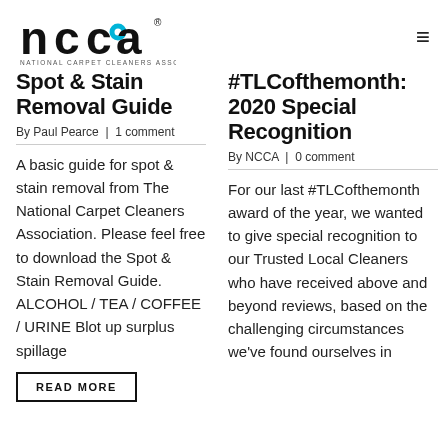[Figure (logo): NCCA National Carpet Cleaners Association logo with stylized letters and blue circle accent]
Spot & Stain Removal Guide
By Paul Pearce  |  1 comment
A basic guide for spot & stain removal from The National Carpet Cleaners Association. Please feel free to download the Spot & Stain Removal Guide. ALCOHOL / TEA / COFFEE / URINE Blot up surplus spillage
READ MORE
#TLCofthemonth: 2020 Special Recognition
By NCCA  |  0 comment
For our last #TLCofthemonth award of the year, we wanted to give special recognition to our Trusted Local Cleaners who have received above and beyond reviews, based on the challenging circumstances we've found ourselves in